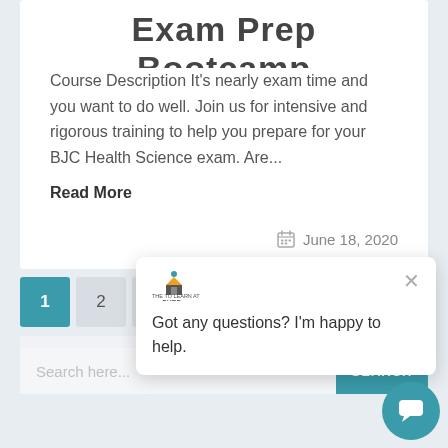Exam Prep Bootcamp
Course Description It's nearly exam time and you want to do well. Join us for intensive and rigorous training to help you prepare for your BJC Health Science exam. Are...
Read More
June 18, 2020
1  2  3  Next
Search here...  SEARCH
Got any questions? I'm happy to help.